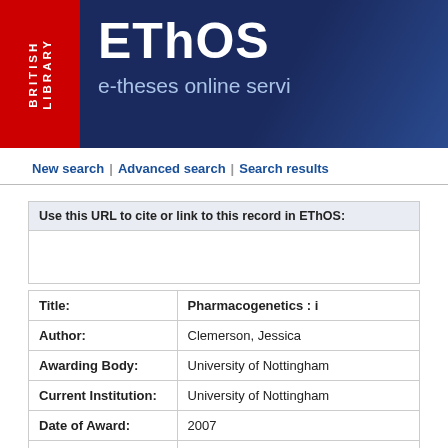[Figure (logo): British Library EThOS (e-theses online service) banner with red British Library logo on left and dark blue EThOS title area on right]
New search | Advanced search | Search results
Use this URL to cite or link to this record in EThOS:
| Field | Value |
| --- | --- |
| Title: | Pharmacogenetics : i... |
| Author: | Clemerson, Jessica |
| Awarding Body: | University of Nottingham |
| Current Institution: | University of Nottingham |
| Date of Award: | 2007 |
|  |  |